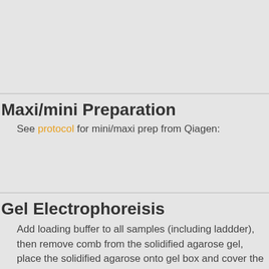Maxi/mini Preparation
See protocol for mini/maxi prep from Qiagen:
Gel Electrophoreisis
Add loading buffer to all samples (including laddder), then remove comb from the solidified agarose gel, place the solidified agarose onto gel box and cover the gel box with 1x TAE buffer. Carefully lo samples into the gel wells. Then cover the gel box with the lid. R